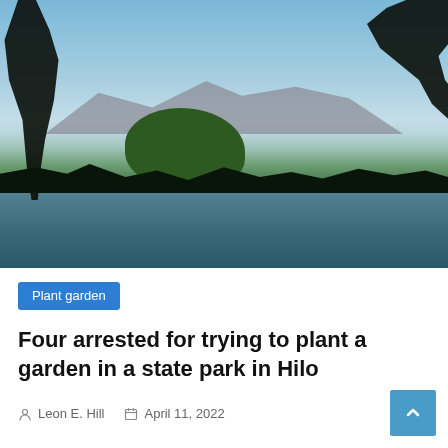[Figure (photo): Outdoor scenic photo of a tropical waterfront in Hilo, Hawaii. Palm trees frame the left and right sides, a large green tree and bridge are visible in the middle distance, with a blue bay and a large volcanic mountain (Mauna Kea) in the background under a clear blue sky.]
Plant garden
Four arrested for trying to plant a garden in a state park in Hilo
Leon E. Hill   April 11, 2022